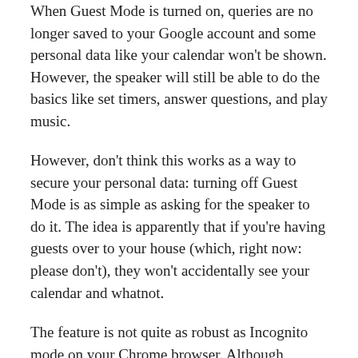When Guest Mode is turned on, queries are no longer saved to your Google account and some personal data like your calendar won't be shown. However, the speaker will still be able to do the basics like set timers, answer questions, and play music.
However, don't think this works as a way to secure your personal data: turning off Guest Mode is as simple as asking for the speaker to do it. The idea is apparently that if you're having guests over to your house (which, right now: please don't), they won't accidentally see your calendar and whatnot.
The feature is not quite as robust as Incognito mode on your Chrome browser. Although interactions aren't saved, the speakers still need to be